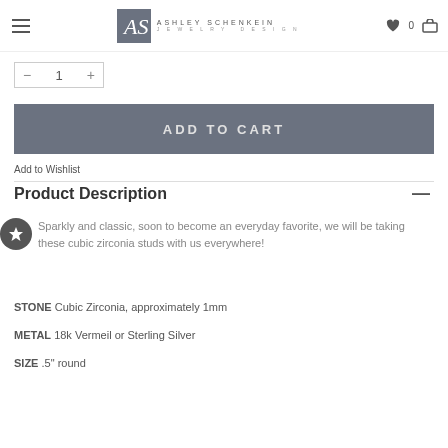Ashley Schenkein Jewelry Design
- 1 +
ADD TO CART
Add to Wishlist
Product Description
Sparkly and classic, soon to become an everyday favorite, we will be taking these cubic zirconia studs with us everywhere!
STONE Cubic Zirconia, approximately 1mm
METAL 18k Vermeil or Sterling Silver
SIZE .5" round